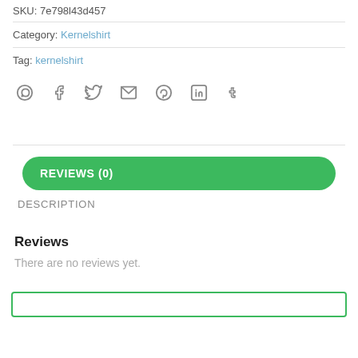SKU: 7e798l43d457
Category: Kernelshirt
Tag: kernelshirt
[Figure (infographic): Row of social media share icons: WhatsApp, Facebook, Twitter, Email, Pinterest, LinkedIn, Tumblr]
REVIEWS (0)
DESCRIPTION
Reviews
There are no reviews yet.